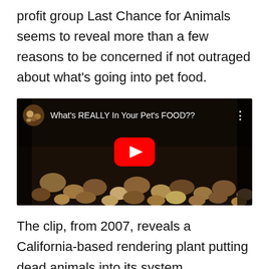profit group Last Chance for Animals seems to reveal more than a few reasons to be concerned if not outraged about what's going into pet food.
[Figure (screenshot): YouTube video thumbnail showing 'What's REALLY In Your Pet's FOOD??' with a play button overlay on a dark background of what appears to be animal material]
The clip, from 2007, reveals a California-based rendering plant putting dead animals into its system.